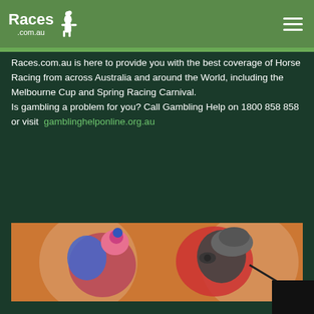Races.com.au
Races.com.au is here to provide you with the best coverage of Horse Racing from across Australia and around the World, including the Melbourne Cup and Spring Racing Carnival.
Is gambling a problem for you? Call Gambling Help on 1800 858 858 or visit gamblinghelponline.org.au
Horse Racing News
[Figure (photo): Two jockeys on horseback viewed from behind/side, wearing colorful silks, with orange circular graphics in background]